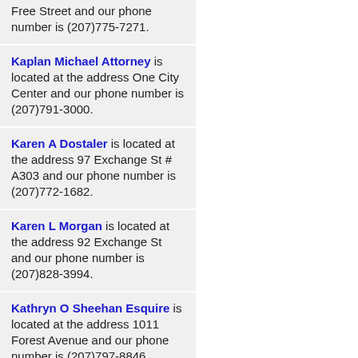Free Street and our phone number is (207)775-7271.
Kaplan Michael Attorney is located at the address One City Center and our phone number is (207)791-3000.
Karen A Dostaler is located at the address 97 Exchange St # A303 and our phone number is (207)772-1682.
Karen L Morgan is located at the address 92 Exchange St and our phone number is (207)828-3994.
Kathryn O Sheehan Esquire is located at the address 1011 Forest Avenue and our phone number is (207)797-8846.
Kayatta William J. Jr. Attorney is located at the...